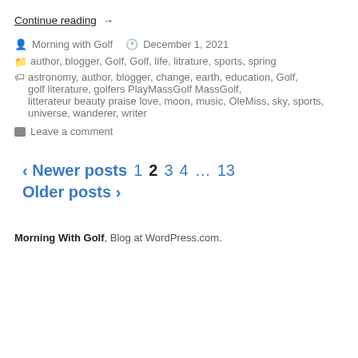Continue reading →
Morning with Golf   December 1, 2021
author, blogger, Golf, Golf, life, litrature, sports, spring
astronomy, author, blogger, change, earth, education, Golf, golf literature, golfers PlayMassGolf MassGolf, litterateur beauty praise love, moon, music, OleMiss, sky, sports, universe, wanderer, writer
Leave a comment
‹ Newer posts  1  2  3  4  …  13  Older posts ›
Morning With Golf, Blog at WordPress.com.